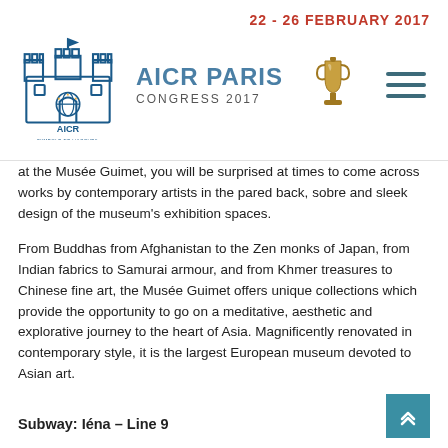22 - 26 FEBRUARY 2017 | AICR PARIS CONGRESS 2017
at the Musée Guimet, you will be surprised at times to come across works by contemporary artists in the pared back, sobre and sleek design of the museum's exhibition spaces.
From Buddhas from Afghanistan to the Zen monks of Japan, from Indian fabrics to Samurai armour, and from Khmer treasures to Chinese fine art, the Musée Guimet offers unique collections which provide the opportunity to go on a meditative, aesthetic and explorative journey to the heart of Asia. Magnificently renovated in contemporary style, it is the largest European museum devoted to Asian art.
Subway: Iéna – Line 9